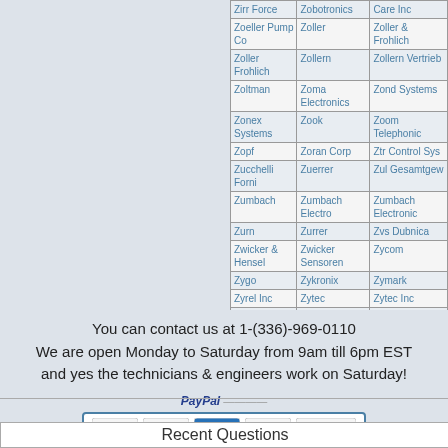| Zirr Force | Zobotronics | Care Inc |  |
| Zoeller Pump Co | Zoller | Zoller & Frohlich | Zo F |
| Zoller Frohlich | Zollern | Zollern Vertrieb | Zo A |
| Zoltman | Zoma Electronics | Zond Systems | Zo |
| Zonex Systems | Zook | Zoom Telephonic | Zo Te |
| Zopf | Zoran Corp | Ztr Control Sys | Zi |
| Zucchelli Forni | Zuerrer | Zul Gesamtgew | Zo |
| Zumbach | Zumbach Electro | Zumbach Electronic | Zi |
| Zurn | Zurrer | Zvs Dubnica | Zo |
| Zwicker & Hensel | Zwicker Sensoren | Zycom | Zy |
| Zygo | Zykronix | Zymark | Zy |
| Zyrel Inc | Zytec | Zytec Inc | Zy |
| Zytron | Zytronics | zareba |  |
You can contact us at 1-(336)-969-0110
We are open Monday to Saturday from 9am till 6pm EST
and yes the technicians & engineers work on Saturday!
[Figure (infographic): PayPal payment options banner showing Visa, MasterCard, American Express, Discover, and PayPal logos]
Recent Questions